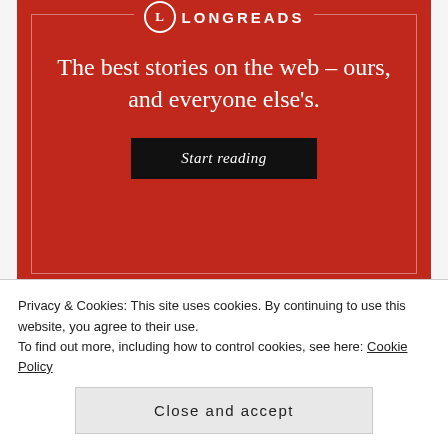[Figure (illustration): Longreads advertisement with red background. Shows the Longreads logo (L in a circle) and the text 'The best stories on the web – ours, and everyone else's.' with a black 'Start reading' button.]
REPORT THIS AD
SHARE THIS THOUGHT:
Privacy & Cookies: This site uses cookies. By continuing to use this website, you agree to their use.
To find out more, including how to control cookies, see here: Cookie Policy
Close and accept